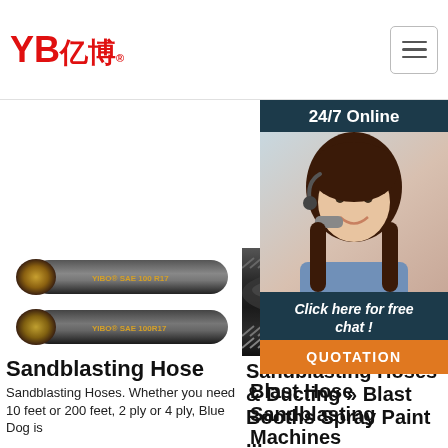YB亿博® — navigation header with logo and hamburger menu
[Figure (screenshot): Get Price green button (center)]
[Figure (screenshot): Get Price green button (right, partially visible) with 24/7 Online customer service chat panel showing a woman with headset, Click here for free chat!, and QUOTATION orange button]
[Figure (photo): Two YIBO SAE 100 R17 hydraulic hoses stacked]
Sandblasting Hose
Sandblasting Hoses. Whether you need 10 feet or 200 feet, 2 ply or 4 ply, Blue Dog is
[Figure (photo): Close-up of black blast hose with braided ends]
Sandblasting Hoses & Ducting » Blast Booths Spray Paint ...
Unfitted Blast Hose Width See Th...
Blast Hose Sandblasting Machines
Clemco Blast Hoses - Free Shipping $75+. Home. Blast Hoses